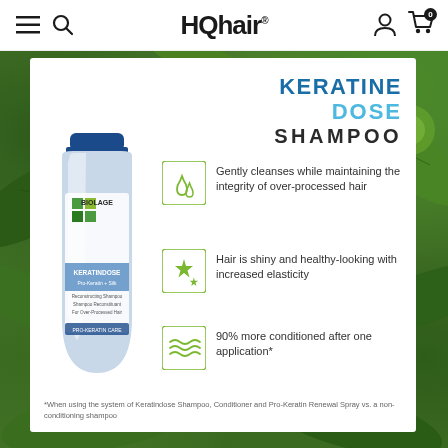HQhair
[Figure (photo): Green tropical leaves background with white product card overlay showing Biolage Keratindose shampoo bottle and product features]
KERATINE DOSE SHAMPOO
Gently cleanses while maintaining the integrity of over-processed hair
Hair is shiny and healthy-looking with increased elasticity
90% more conditioned after one application*
*When using the system of Keratindose Shampoo, Conditioner and Pro-Keratin Renewal Spray vs. a non-conditioning shampoo